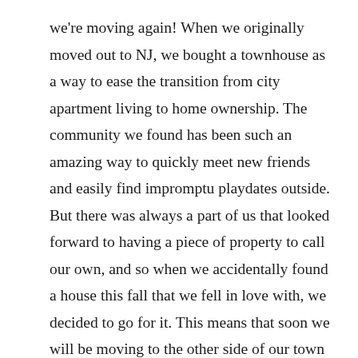we're moving again!  When we originally moved out to NJ, we bought a townhouse as a way to ease the transition from city apartment living to home ownership.  The community we found has been such an amazing way to quickly meet new friends and easily find impromptu playdates outside.  But there was always a part of us that looked forward to having a piece of property to call our own, and so when we accidentally found a house this fall that we fell in love with, we decided to go for it.  This means that soon we will be moving to the other side of our town into what will hopefully be our “forever” house.  Given that it will be the seventh home I’ve lived in since graduating college less than 12 years ago, I am very ready to be done moving for a very long time!